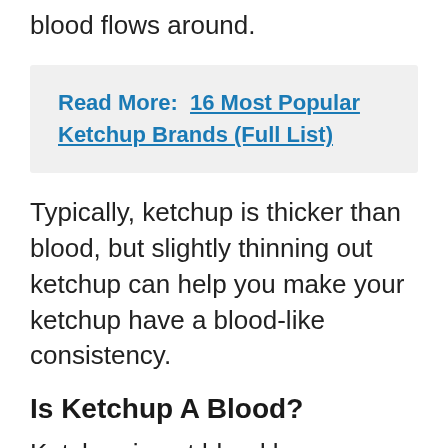blood flows around.
Read More:  16 Most Popular Ketchup Brands (Full List)
Typically, ketchup is thicker than blood, but slightly thinning out ketchup can help you make your ketchup have a blood-like consistency.
Is Ketchup A Blood?
Ketchup is not blood because ketchup is